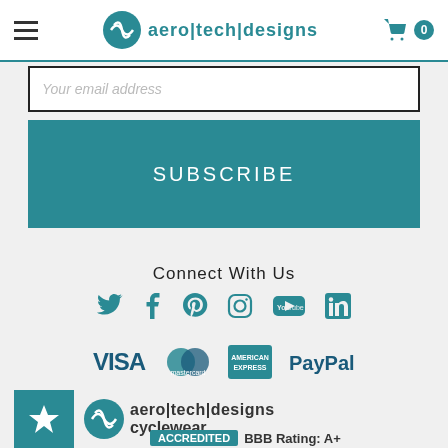aero|tech|designs — navigation header with hamburger menu and cart (0 items)
Your email address
SUBSCRIBE
Connect With Us
[Figure (infographic): Social media icons: Twitter, Facebook, Pinterest, Instagram, YouTube, LinkedIn — all in teal]
[Figure (infographic): Payment method logos: VISA, Mastercard, American Express, PayPal — all in teal/dark]
[Figure (logo): Aero Tech Designs Cyclewear logo with teal arrow icon]
[Figure (infographic): Star badge icon in teal square]
BBB Rating: A+
ACCREDITED